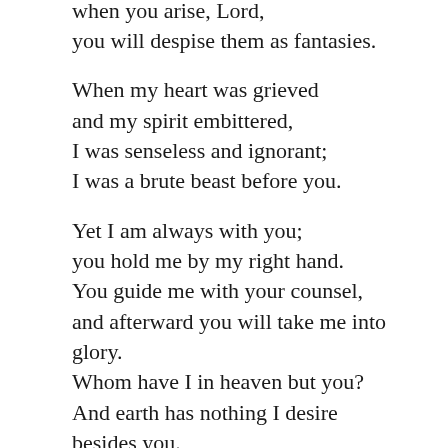when you arise, Lord,
you will despise them as fantasies.

When my heart was grieved
and my spirit embittered,
I was senseless and ignorant;
I was a brute beast before you.

Yet I am always with you;
you hold me by my right hand.
You guide me with your counsel,
and afterward you will take me into glory.
Whom have I in heaven but you?
And earth has nothing I desire besides you.
My flesh and my heart may fail,
but God is the strength of my heart
and my portion forever.